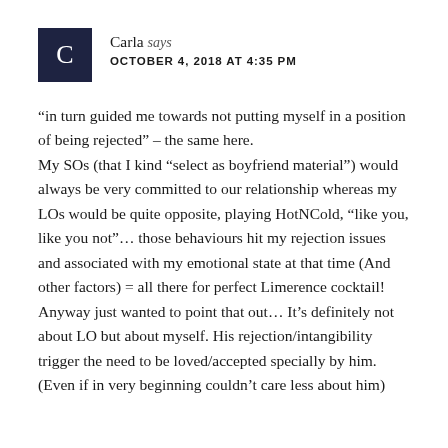Carla says — OCTOBER 4, 2018 AT 4:35 PM
“in turn guided me towards not putting myself in a position of being rejected” – the same here.
My SOs (that I kind “select as boyfriend material”) would always be very committed to our relationship whereas my LOs would be quite opposite, playing HotNCold, “like you, like you not”… those behaviours hit my rejection issues and associated with my emotional state at that time (And other factors) = all there for perfect Limerence cocktail!
Anyway just wanted to point that out… It’s definitely not about LO but about myself. His rejection/intangibility trigger the need to be loved/accepted specially by him. (Even if in very beginning couldn’t care less about him)